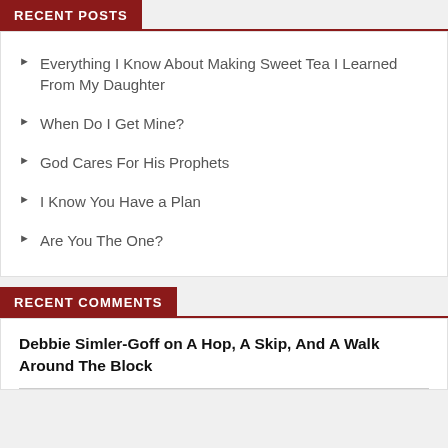RECENT POSTS
Everything I Know About Making Sweet Tea I Learned From My Daughter
When Do I Get Mine?
God Cares For His Prophets
I Know You Have a Plan
Are You The One?
RECENT COMMENTS
Debbie Simler-Goff on A Hop, A Skip, And A Walk Around The Block